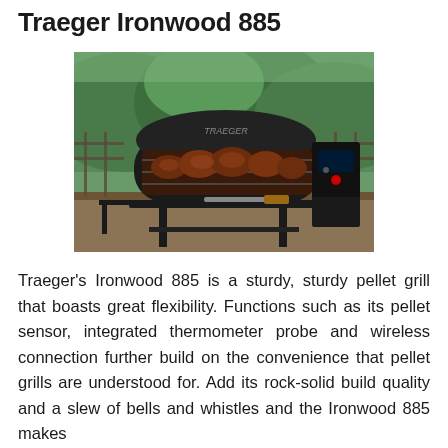Traeger Ironwood 885
[Figure (photo): A Traeger Ironwood 885 pellet grill on an outdoor deck with its lid open revealing several large smoked meat cuts on the grill grates. The grill is dark/black in color with a control panel visible on the right side. A grilling spatula with a wooden handle lies on the front shelf. Green forested mountains are visible in the background.]
Traeger's Ironwood 885 is a sturdy, sturdy pellet grill that boasts great flexibility. Functions such as its pellet sensor, integrated thermometer probe and wireless connection further build on the convenience that pellet grills are understood for. Add its rock-solid build quality and a slew of bells and whistles and the Ironwood 885 makes